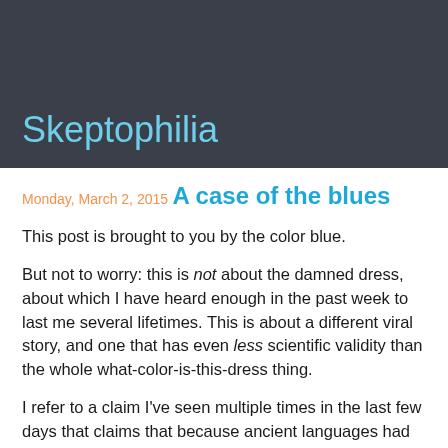Skeptophilia
Monday, March 2, 2015
A case of the blues
This post is brought to you by the color blue.
But not to worry: this is not about the damned dress, about which I have heard enough in the past week to last me several lifetimes.  This is about a different viral story, and one that has even less scientific validity than the whole what-color-is-this-dress thing.
I refer to a claim I've seen multiple times in the last few days that claims that because ancient languages had no word for